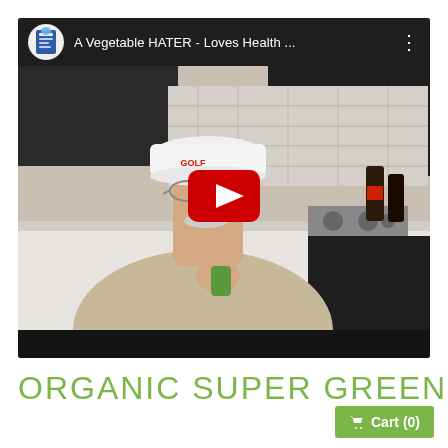[Figure (screenshot): YouTube video thumbnail showing an older man wearing a white GOLF cap and glasses, holding a green drink in a kitchen setting. A red YouTube play button is overlaid in the center. The video title bar at the top reads 'A Vegetable HATER - Loves Health ...' with a channel icon showing a supplement bottle.]
ORGANIC SUPER GREENS DRINK
Cart (0)